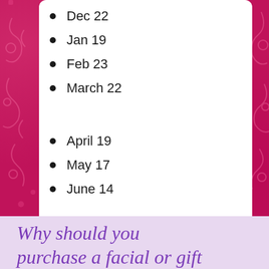Dec 22
Jan 19
Feb 23
March 22
April 19
May 17
June 14
Why should you purchase a facial or gift